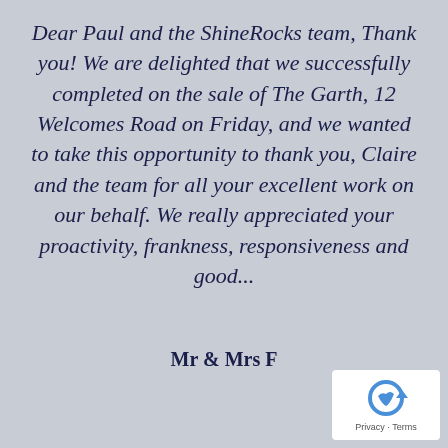Dear Paul and the ShineRocks team, Thank you! We are delighted that we successfully completed on the sale of The Garth, 12 Welcomes Road on Friday, and we wanted to take this opportunity to thank you, Claire and the team for all your excellent work on our behalf. We really appreciated your proactivity, frankness, responsiveness and good...
Mr & Mrs F
[Figure (logo): reCAPTCHA logo with Privacy and Terms links]